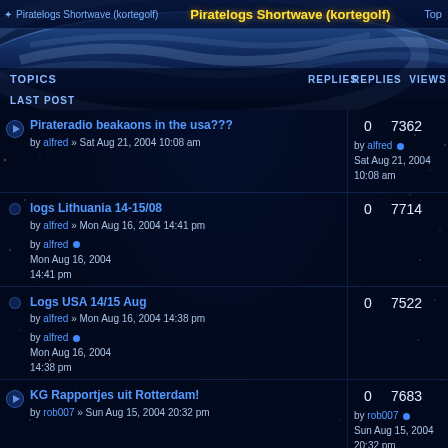Piratelogs Shortwave (kortegolf) — Top
TOPICS | REPLIES | VIEWS | LAST POST
Pirateradio beakaons in the usa??? by alfred » Sat Aug 21, 2004 10:08 am | 0 | 7362 | by alfred Sat Aug 21, 2004 10:08 am
logs Lithuania 14-15/08 by alfred » Mon Aug 16, 2004 14:41 pm | 0 | 7714 | by alfred Mon Aug 16, 2004 14:41 pm
Logs USA 14/15 Aug by alfred » Mon Aug 16, 2004 14:38 pm | 0 | 7522 | by alfred Mon Aug 16, 2004 14:38 pm
KG Rapportjes uit Rotterdam! by rob007 » Sun Aug 15, 2004 20:32 pm | 0 | 7683 | by rob007 Sun Aug 15, 2004 20:32 pm
Logs Italy by alfred » Sun Aug 15, 2004 18:54 pm | 0 | 7774